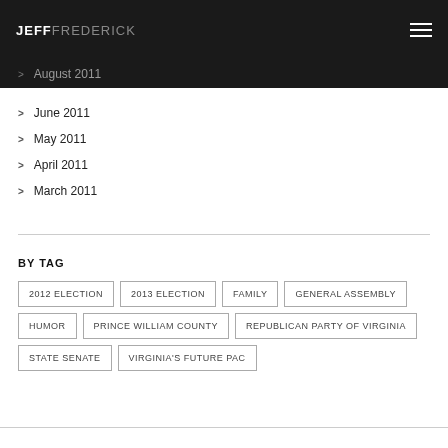JEFF FREDERICK
August 2011
June 2011
May 2011
April 2011
March 2011
BY TAG
2012 ELECTION | 2013 ELECTION | FAMILY | GENERAL ASSEMBLY | HUMOR | PRINCE WILLIAM COUNTY | REPUBLICAN PARTY OF VIRGINIA | STATE SENATE | VIRGINIA'S FUTURE PAC